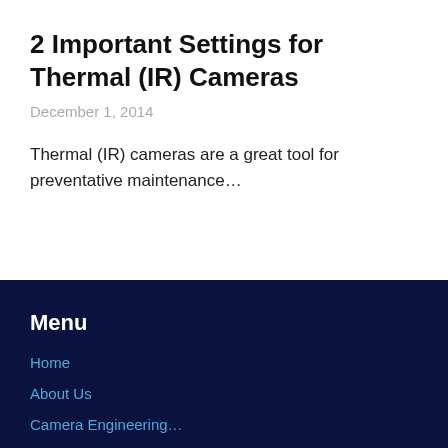2 Important Settings for Thermal (IR) Cameras
December 1, 2014
Thermal (IR) cameras are a great tool for preventative maintenance…
Menu
Home
About Us
Camera Engineering…